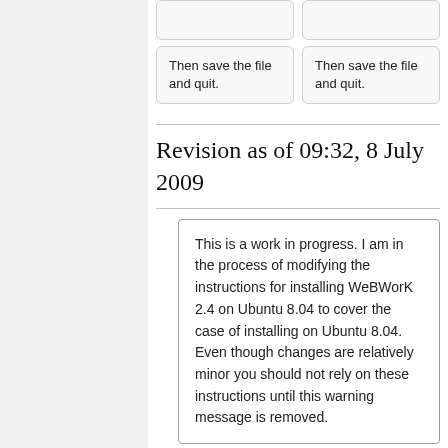Then save the file and quit.
Then save the file and quit.
Revision as of 09:32, 8 July 2009
This is a work in progress. I am in the process of modifying the instructions for installing WeBWorK 2.4 on Ubuntu 8.04 to cover the case of installing on Ubuntu 8.04. Even though changes are relatively minor you should not rely on these instructions until this warning message is removed.